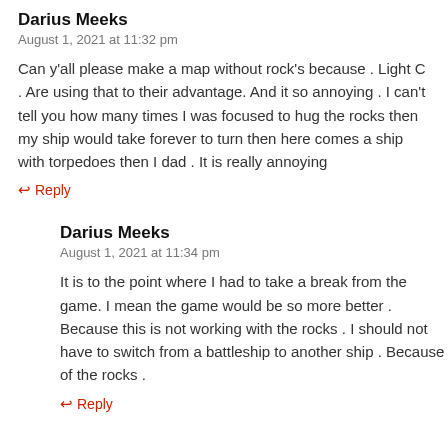Darius Meeks
August 1, 2021 at 11:32 pm
Can y'all please make a map without rock's because . Light C . Are using that to their advantage. And it so annoying . I can't tell you how many times I was focused to hug the rocks then my ship would take forever to turn then here comes a ship with torpedoes then I dad . It is really annoying
↩ Reply
Darius Meeks
August 1, 2021 at 11:34 pm
It is to the point where I had to take a break from the game. I mean the game would be so more better . Because this is not working with the rocks . I should not have to switch from a battleship to another ship . Because of the rocks .
↩ Reply